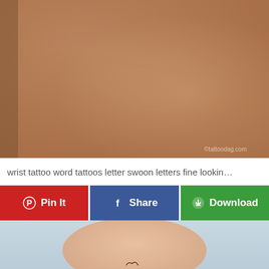[Figure (photo): Close-up of a person's forearm or knee area, showing skin texture with a warm beige/brown tone and subtle skin details. Watermark 'tattoodag.com' visible in lower right.]
wrist tattoo word tattoos letter swoon letters fine lookin…
Pin It
Share
Download
[Figure (photo): A person's wrist/forearm against a light blue-grey background, showing a small black line tattoo (appears to be a heart or cursive design) on the inner wrist area.]